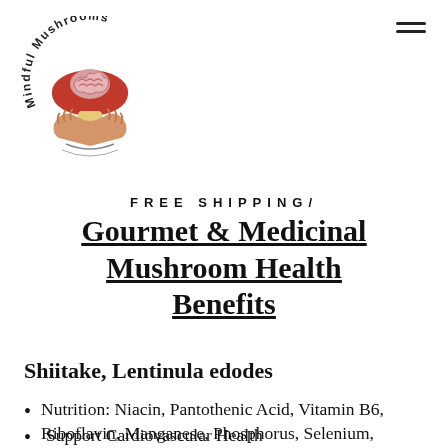[Figure (logo): Mindful Mushrooms logo: circular text 'Mindful Mushrooms' around an illustrated mushroom with a brain held by hands]
FREE SHIPPING/
Gourmet & Medicinal Mushroom Health Benefits
Shiitake, Lentinula edodes
Nutrition: Niacin, Pantothenic Acid, Vitamin B6, Riboflavin, Manganese, Phosphorus, Selenium, Copper, Zinc, Potassium, magnesium, Vitamin D, and Iron
Support Cardiovascular Health